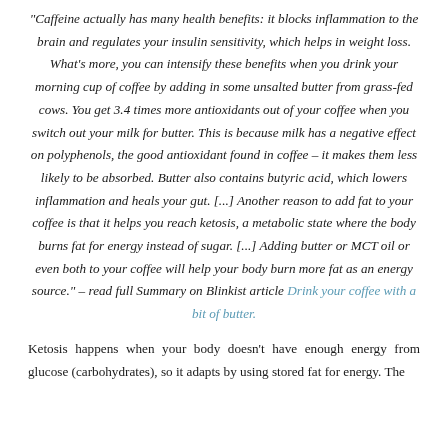“Caffeine actually has many health benefits: it blocks inflammation to the brain and regulates your insulin sensitivity, which helps in weight loss. What’s more, you can intensify these benefits when you drink your morning cup of coffee by adding in some unsalted butter from grass-fed cows. You get 3.4 times more antioxidants out of your coffee when you switch out your milk for butter. This is because milk has a negative effect on polyphenols, the good antioxidant found in coffee – it makes them less likely to be absorbed. Butter also contains butyric acid, which lowers inflammation and heals your gut. [...] Another reason to add fat to your coffee is that it helps you reach ketosis, a metabolic state where the body burns fat for energy instead of sugar. [...] Adding butter or MCT oil or even both to your coffee will help your body burn more fat as an energy source.” – read full Summary on Blinkist article Drink your coffee with a bit of butter.
Ketosis happens when your body doesn’t have enough energy from glucose (carbohydrates), so it adapts by using stored fat for energy. The